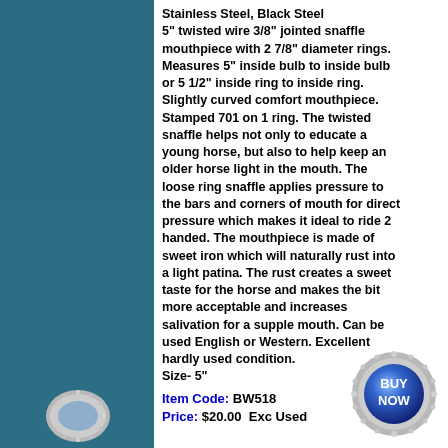[Figure (photo): Teal/blue fabric background with a silver and blue decorative bolo tie piece featuring a blue oval gemstone in silver setting with ornate engraving, with blue cord/rope]
Stainless Steel, Black Steel
5" twisted wire 3/8" jointed snaffle mouthpiece with 2 7/8" diameter rings. Measures 5" inside bulb to inside bulb or 5 1/2" inside ring to inside ring. Slightly curved comfort mouthpiece. Stamped 701 on 1 ring. The twisted snaffle helps not only to educate a young horse, but also to help keep an older horse light in the mouth. The loose ring snaffle applies pressure to the bars and corners of mouth for direct pressure which makes it ideal to ride 2 handed. The mouthpiece is made of sweet iron which will naturally rust into a light patina. The rust creates a sweet taste for the horse and makes the bit more acceptable and increases salivation for a supple mouth. Can be used English or Western. Excellent hardly used condition.
Size- 5"
Item Code: BW518
Price: $20.00  Exc Used
[Figure (illustration): Buy Now button styled as a blue oval with silver beaded border, white bold text reading BUY NOW]